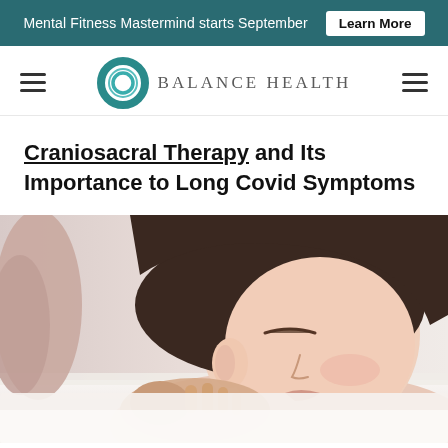Mental Fitness Mastermind starts September  Learn More
[Figure (logo): Balance Health logo: teal ring icon with text BALANCE HEALTH in serif lettering]
Craniosacral Therapy and Its Importance to Long Covid Symptoms
[Figure (photo): A woman lying on a treatment table with eyes closed while a therapist gently holds her head/jaw in a craniosacral therapy session. Soft neutral background.]